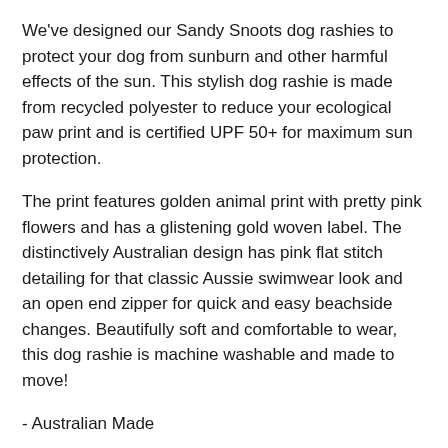We've designed our Sandy Snoots dog rashies to protect your dog from sunburn and other harmful effects of the sun. This stylish dog rashie is made from recycled polyester to reduce your ecological paw print and is certified UPF 50+ for maximum sun protection.
The print features golden animal print with pretty pink flowers and has a glistening gold woven label. The distinctively Australian design has pink flat stitch detailing for that classic Aussie swimwear look and an open end zipper for quick and easy beachside changes. Beautifully soft and comfortable to wear, this dog rashie is machine washable and made to move!
- Australian Made
- Certified UPF 50+ for maximum sun protection
- Stylish design